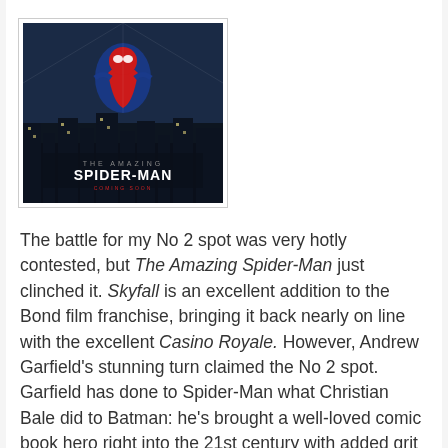[Figure (illustration): Movie poster for The Amazing Spider-Man showing Spider-Man in action against a dark cityscape background with the title 'THE AMAZING SPIDER-MAN' prominently displayed]
The battle for my No 2 spot was very hotly contested, but The Amazing Spider-Man just clinched it. Skyfall is an excellent addition to the Bond film franchise, bringing it back nearly on line with the excellent Casino Royale. However, Andrew Garfield's stunning turn claimed the No 2 spot. Garfield has done to Spider-Man what Christian Bale did to Batman: he's brought a well-loved comic book hero right into the 21st century with added grit and style.
The Hobbit: An Unexpected Journey was the film I was looking forward to the most in 2012. As